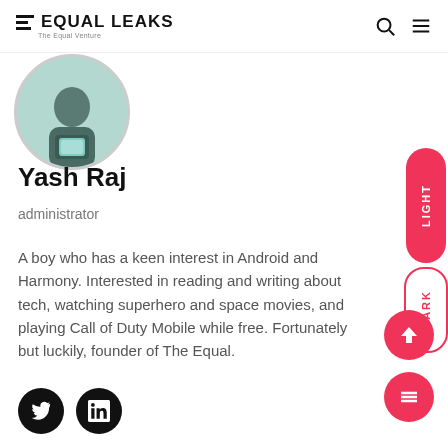EQUAL LEAKS - The Equal Venture
[Figure (photo): Circular profile photo showing a person holding a phone/device, cropped at top of page]
Yash Raj
administrator
A boy who has a keen interest in Android and Harmony. Interested in reading and writing about tech, watching superhero and space movies, and playing Call of Duty Mobile while free. Fortunately but luckily, founder of The Equal.
[Figure (illustration): Social media icons: Twitter and LinkedIn black circle buttons]
[Figure (illustration): Light/Dark mode toggle pill buttons on right side]
[Figure (illustration): Up arrow scroll button (pink circle) and hamburger menu button (pink circle)]